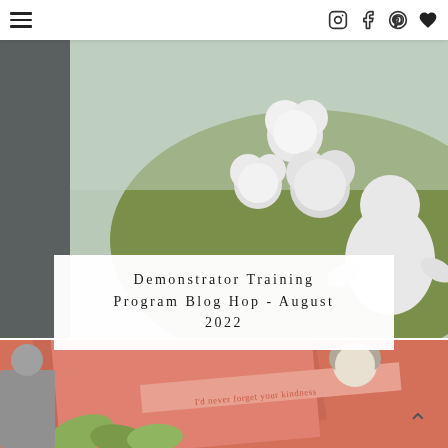Navigation menu and social icons (Instagram, Facebook, Pinterest, Heart/Save)
[Figure (photo): Close-up photo of a handmade craft card with mint/green background featuring white paper flowers and a small white figure, partially visible on the left side.]
Demonstrator Training Program Blog Hop - August 2022
[Figure (photo): Close-up photo of a coral/salmon colored handmade card with a small illustrated girl character and text reading 'I'd never forget your kindness', with green leaf accents.]